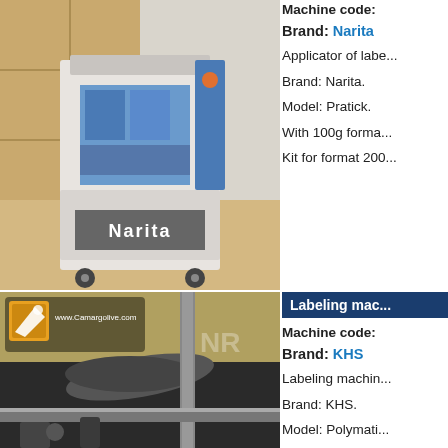[Figure (photo): Photo of a Narita brand label applicator machine (model Pratick) on wheels in a warehouse setting with wooden boxes in background.]
Machine code:
Brand: Narita
Applicator of labe...
Brand: Narita.
Model: Pratick.
With 100g forma...
Kit for format 200...
[Figure (photo): Close-up photo of KHS labeling machine mechanical parts with camargotive.com watermark logo in top left corner.]
Labeling mac...
Machine code:
Brand: KHS
Labeling machin...
Brand: KHS.
Model: Polymati...